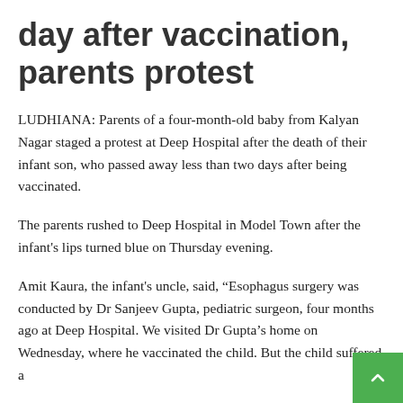day after vaccination, parents protest
LUDHIANA: Parents of a four-month-old baby from Kalyan Nagar staged a protest at Deep Hospital after the death of their infant son, who passed away less than two days after being vaccinated.
The parents rushed to Deep Hospital in Model Town after the infant's lips turned blue on Thursday evening.
Amit Kaura, the infant's uncle, said, “Esophagus surgery was conducted by Dr Sanjeev Gupta, pediatric surgeon, four months ago at Deep Hospital. We visited Dr Gupta’s home on Wednesday, where he vaccinated the child. But the child suffered a